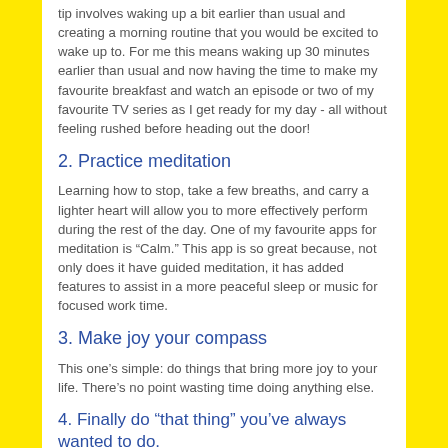tip involves waking up a bit earlier than usual and creating a morning routine that you would be excited to wake up to. For me this means waking up 30 minutes earlier than usual and now having the time to make my favourite breakfast and watch an episode or two of my favourite TV series as I get ready for my day - all without feeling rushed before heading out the door!
2. Practice meditation
Learning how to stop, take a few breaths, and carry a lighter heart will allow you to more effectively perform during the rest of the day. One of my favourite apps for meditation is “Calm.” This app is so great because, not only does it have guided meditation, it has added features to assist in a more peaceful sleep or music for focused work time.
3. Make joy your compass
This one’s simple: do things that bring more joy to your life. There’s no point wasting time doing anything else.
4. Finally do “that thing” you’ve always wanted to do.